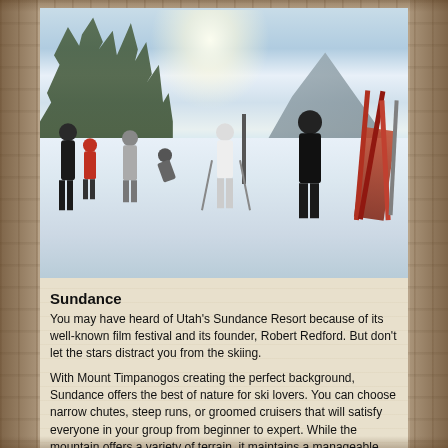[Figure (photo): Outdoor winter ski resort scene showing skiers and people on a snow-covered slope. Bright sun glare upper left, snow-covered trees on left, a mountain peak on the right, ski lift poles visible, and ski equipment leaning on the right side. Several people in winter gear are visible in the foreground.]
Sundance
You may have heard of Utah's Sundance Resort because of its well-known film festival and its founder, Robert Redford. But don't let the stars distract you from the skiing.
With Mount Timpanogos creating the perfect background, Sundance offers the best of nature for ski lovers. You can choose narrow chutes, steep runs, or groomed cruisers that will satisfy everyone in your group from beginner to expert. While the mountain offers a variety of terrain, it maintains a manageable size for keeping track of your